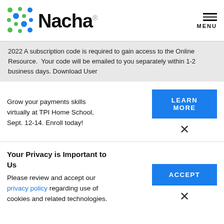[Figure (logo): Nacha logo with colorful dot pattern and the word Nacha in bold, plus hamburger menu icon with MENU label]
2022 A subscription code is required to gain access to the Online Resource.  Your code will be emailed to you separately within 1-2 business days. Download User
Grow your payments skills virtually at TPI Home School, Sept. 12-14. Enroll today!
LEARN MORE
×
Your Privacy is Important to Us
Please review and accept our privacy policy regarding use of cookies and related technologies.
ACCEPT
×